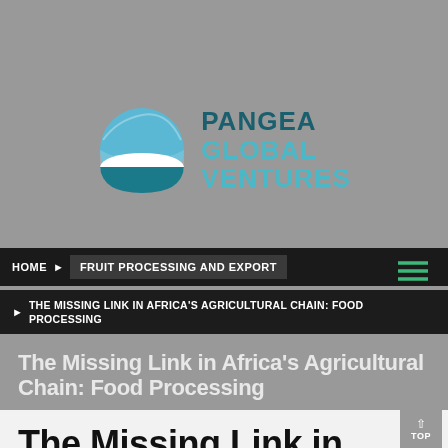[Figure (logo): Pangea Global Ventures logo — globe icon with blue and white segments, alongside text PANGEA GLOBAL VENTURES in teal/blue]
HOME ▶ FRUIT PROCESSING AND EXPORT
▶ THE MISSING LINK IN AFRICA'S AGRICULTURAL CHAIN: FOOD PROCESSING
The Missing Link in Africa's Agricultural Chain: Food Processing
The Missing Link in Africa's Agricultural Chain: